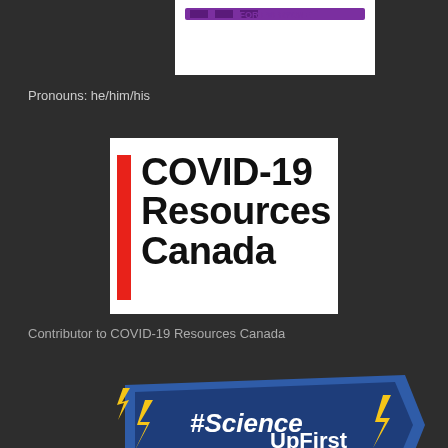[Figure (logo): Partial logo at top — white background with purple text partially visible 'FOR EVERYONE']
Pronouns: he/him/his
[Figure (logo): COVID-19 Resources Canada logo — white background with red vertical bar on left and bold black text reading 'COVID-19 Resources Canada']
Contributor to COVID-19 Resources Canada
[Figure (logo): Science UpFirst logo — blue pennant/banner shape with yellow lightning bolts and white bold text reading '#Science UpFirst']